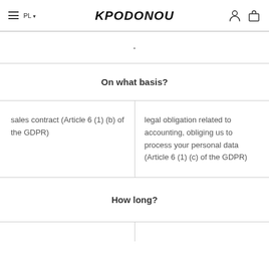KPODONOU | PL
On what basis?
sales contract (Article 6 (1) (b) of the GDPR)
legal obligation related to accounting, obliging us to process your personal data (Article 6 (1) (c) of the GDPR)
How long?